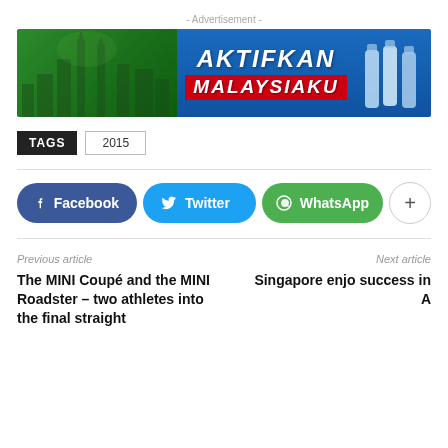[Figure (illustration): Advertisement banner for Aktifkan Malaysiaku - blue and green banner with Petronas Towers skyline silhouette on left, bold italic white text 'AKTIFKAN MALAYSIAKU' in center-left, water bottles on right]
TAGS  2015
[Figure (infographic): Social share buttons: Facebook (dark blue), Twitter (light blue), WhatsApp (green), and a more (+) button]
Previous article
The MINI Coupé and the MINI Roadster – two athletes into the final straight
Next article
Singapore enjo success in A